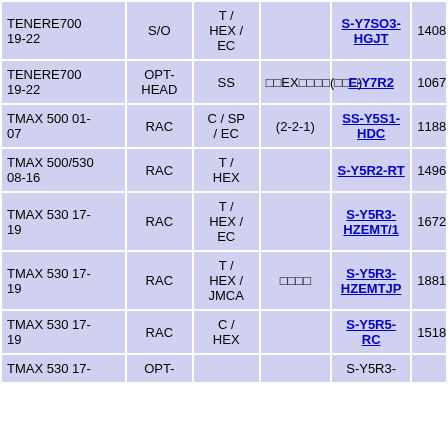| Model | Type | Kit | Notes | Part | Price |
| --- | --- | --- | --- | --- | --- |
| TENERE700 19-22 | S/O | T / HEX / EC |  | S-Y7SO3-HGJT | 1408 |
| TENERE700 19-22 | OPT-HEAD | SS | □□EX□□□□(□□□) | E-Y7R2 | 1067 |
| TMAX 500 01-07 | RAC | C / SP / EC | (2-2-1) | SS-Y5S1-HDC | 1188 |
| TMAX 500/530 08-16 | RAC | T / HEX |  | S-Y5R2-RT | 1496 |
| TMAX 530 17-19 | RAC | T / HEX / EC |  | S-Y5R3-HZEMT/1 | 1672 |
| TMAX 530 17-19 | RAC | T / HEX / JMCA | □□□□ | S-Y5R3-HZEMTJP | 1881 |
| TMAX 530 17-19 | RAC | C / HEX |  | S-Y5R5-RC | 1518 |
| TMAX 530 17- | OPT- |  |  | S-Y5R3- |  |